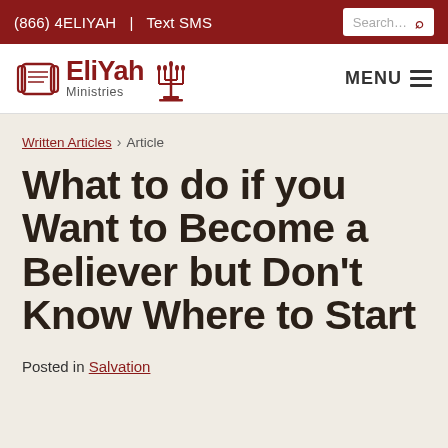(866) 4ELIYAH  |  Text SMS
[Figure (logo): EliYah Ministries logo with scroll icon and menorah symbol]
Written Articles › Article
What to do if you Want to Become a Believer but Don't Know Where to Start
Posted in Salvation